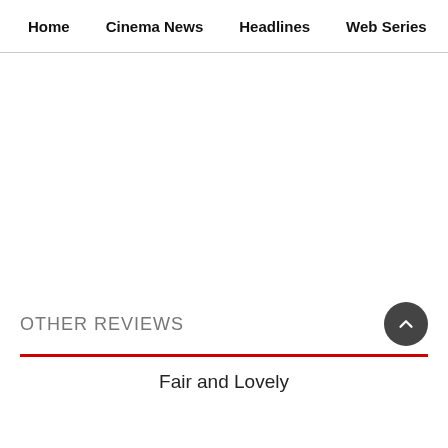Home  Cinema News  Headlines  Web Series  Photos
OTHER REVIEWS
Fair and Lovely